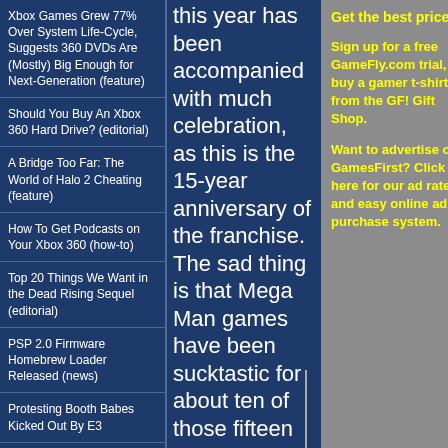Xbox Games Grew 77% Over System Life-Cycle, Suggests 360 DVDs Are (Mostly) Big Enough for Next-Generation (feature)
Should You Buy An Xbox 360 Hard Drive? (editorial)
A Bridge Too Far: The World of Halo 2 Cheating (feature)
How To Get Podcasts on Your Xbox 360 (how-to)
Top 20 Things We Want in the Dead Rising Sequel (editorial)
PSP 2.0 Firmware Homebrew Loader Released (news)
Protesting Booth Babes Kicked Out By E3
this year has been accompanied with much celebration, as this is the 15-year anniversary of the franchise. The sad thing is that Mega Man games have been sucktastic for about ten of those fifteen years. Every time Capcom tries to
Get the best price:

Sign up for a free GameFly.com trial, or buy a gamer t-shirt from the GF! Gift Shop.

Want to advertise on GamesFirst? Click here for our ad rates and easy online ad purchase system.